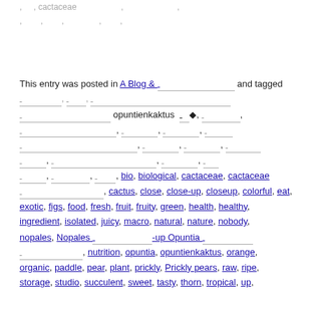, , cactaceae , ,
, , , , ,
This entry was posted in A Blog & __________ and tagged _________, _____, ___________________________________________ opuntienkaktus ◆, _________, ____________________________, __________, __________, ________ ____________________________________, __________, __________, __________ _______, _______________________________, __________, _____ ______, __________, ______, bio, biological, cactaceae, cactaceae _______________, cactus, close, close-up, closeup, colorful, eat, exotic, figs, food, fresh, fruit, fruity, green, health, healthy, ingredient, isolated, juicy, macro, natural, nature, nobody, nopales, Nopales ________________-up Opuntia ________________, nutrition, opuntia, opuntienkaktus, orange, organic, paddle, pear, plant, prickly, Prickly pears, raw, ripe, storage, studio, succulent, sweet, tasty, thorn, tropical, up,